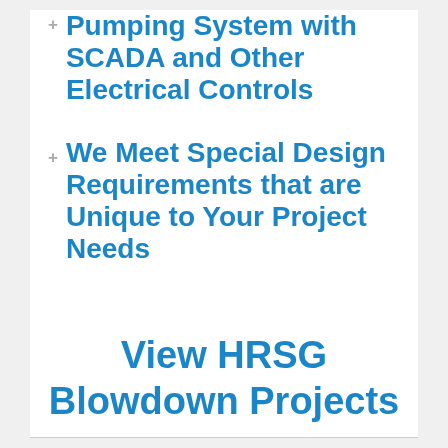Pumping System with SCADA and Other Electrical Controls
We Meet Special Design Requirements that are Unique to Your Project Needs
View HRSG Blowdown Projects